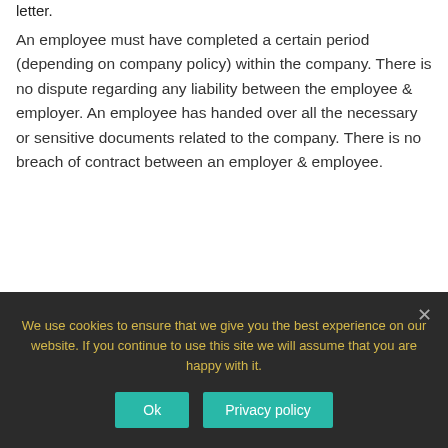letter.
An employee must have completed a certain period (depending on company policy) within the company. There is no dispute regarding any liability between the employee & employer. An employee has handed over all the necessary or sensitive documents related to the company. There is no breach of contract between an employer & employee.
When to put date in work experience letter?
We use cookies to ensure that we give you the best experience on our website. If you continue to use this site we will assume that you are happy with it.